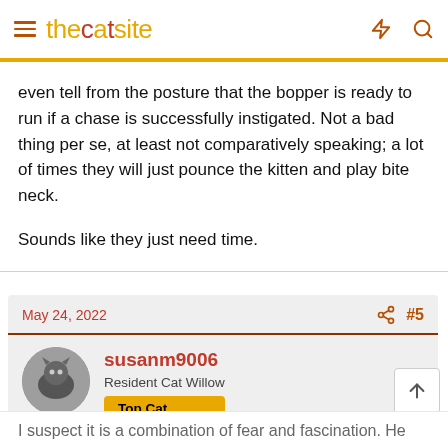thecatsite
even tell from the posture that the bopper is ready to run if a chase is successfully instigated. Not a bad thing per se, at least not comparatively speaking; a lot of times they will just pounce the kitten and play bite neck.

Sounds like they just need time.
May 24, 2022  #5
susanm9006
Resident Cat Willow
Top Cat
I suspect it is a combination of fear and fascination. He